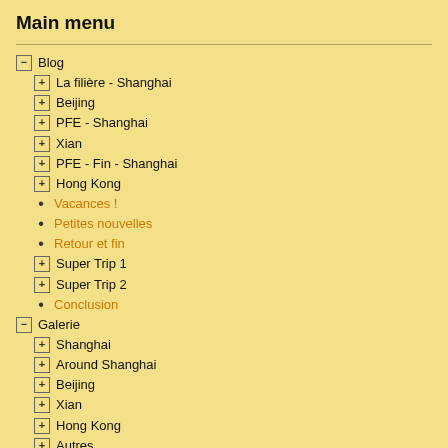Main menu
− Blog
+ La filière - Shanghai
+ Beijing
+ PFE - Shanghai
+ Xian
+ PFE - Fin - Shanghai
+ Hong Kong
• Vacances !
• Petites nouvelles
• Retour et fin
+ Super Trip 1
+ Super Trip 2
• Conclusion
− Galerie
+ Shanghai
+ Around Shanghai
+ Beijing
+ Xian
+ Hong Kong
+ Autres
• (partiellement visible)